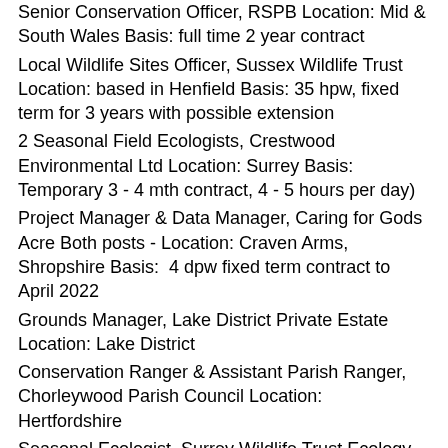Senior Conservation Officer, RSPB Location: Mid & South Wales Basis: full time 2 year contract
Local Wildlife Sites Officer, Sussex Wildlife Trust Location: based in Henfield Basis: 35 hpw, fixed term for 3 years with possible extension
2 Seasonal Field Ecologists, Crestwood Environmental Ltd Location: Surrey Basis: Temporary 3 - 4 mth contract, 4 - 5 hours per day)
Project Manager & Data Manager, Caring for Gods Acre Both posts - Location: Craven Arms, Shropshire Basis:  4 dpw fixed term contract to April 2022
Grounds Manager, Lake District Private Estate Location: Lake District
Conservation Ranger & Assistant Parish Ranger, Chorleywood Parish Council Location: Hertfordshire
Seasonal Ecologist, Surrey Wildlife Trust Ecology Services Basis: Short term contract April to October
Rangers, Severn Trent Water Locations: Carsington (Derbyshire), Draycote (Warwickshire), Staunton Harold (Leicestershire) Basis: 10 months contract